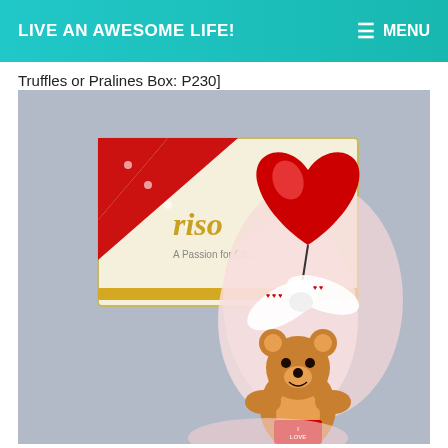LIVE AN AWESOME LIFE!   ≡ MENU
Truffles or Pralines Box: P230]
[Figure (photo): A gift set featuring a Risa chocolates box with a red ribbon, a red foil heart-shaped balloon on a stick wrapped in pink tissue and decorated with a white ribbon with red hearts pattern, and a small brown teddy bear with 'I LOVE YOU' text.]